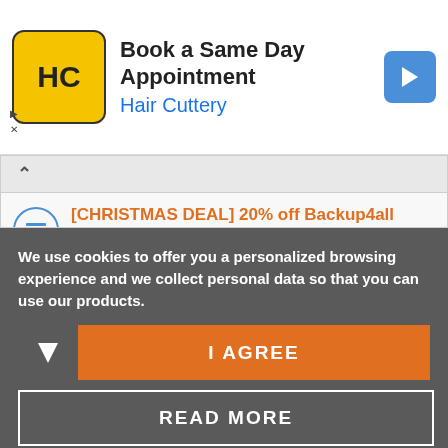[Figure (screenshot): Hair Cuttery advertisement banner with logo, 'Book a Same Day Appointment' text, and navigation arrow icon]
[CHRISTMAS DEAL] 20% off Backup4all
Last post by Adrian (Softland) « Tue Jan 09, 2018 6:43 am
Replies: 3
[Changelog] FBackup 7
Last post by Claudiu (Softland) « Thu Oct 12, 2017 8:54 am
We use cookies to offer you a personalized browsing experience and we collect personal data so that you can use our products.
I AGREE
READ MORE